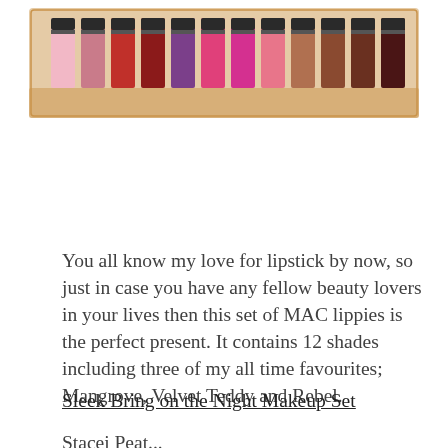[Figure (photo): A gold/rose-gold gift box containing 12 MAC lipsticks in various shades ranging from pinks, reds, purples, and browns, arranged in a row.]
You all know my love for lipstick by now, so just in case you have any fellow beauty lovers in your lives then this set of MAC lippies is the perfect present. It contains 12 shades including three of my all time favourites; Mangrove, Velvet Teddy and Rebel.
Sleek Bring on the Night Makeup Set
Stacie Peat...